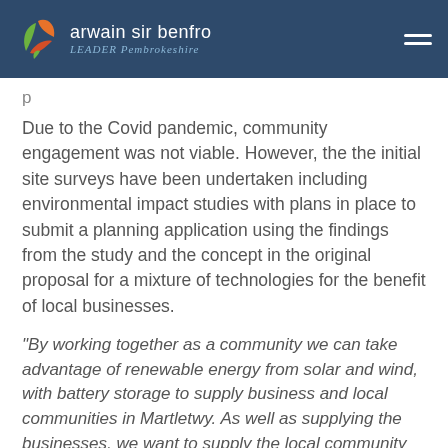arwain sir benfro LEADER Pembrokeshire
Due to the Covid pandemic, community engagement was not viable. However, the the initial site surveys have been undertaken including environmental impact studies with plans in place to submit a planning application using the findings from the study and the concept in the original proposal for a mixture of technologies for the benefit of local businesses.
“By working together as a community we can take advantage of renewable energy from solar and wind, with battery storage to supply business and local communities in Martletwy. As well as supplying the businesses, we want to supply the local community and explore models of community ownership.”